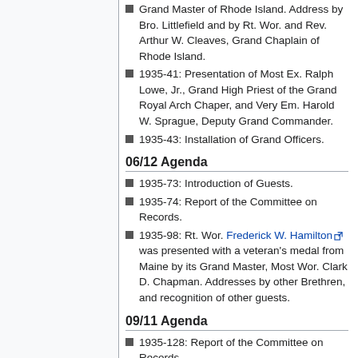Grand Master of Rhode Island. Address by Bro. Littlefield and by Rt. Wor. and Rev. Arthur W. Cleaves, Grand Chaplain of Rhode Island.
1935-41: Presentation of Most Ex. Ralph Lowe, Jr., Grand High Priest of the Grand Royal Arch Chaper, and Very Em. Harold W. Sprague, Deputy Grand Commander.
1935-43: Installation of Grand Officers.
06/12 Agenda
1935-73: Introduction of Guests.
1935-74: Report of the Committee on Records.
1935-98: Rt. Wor. Frederick W. Hamilton was presented with a veteran's medal from Maine by its Grand Master, Most Wor. Clark D. Chapman. Addresses by other Brethren, and recognition of other guests.
09/11 Agenda
1935-128: Report of the Committee on Records.
1935-128: Report of committee on degree